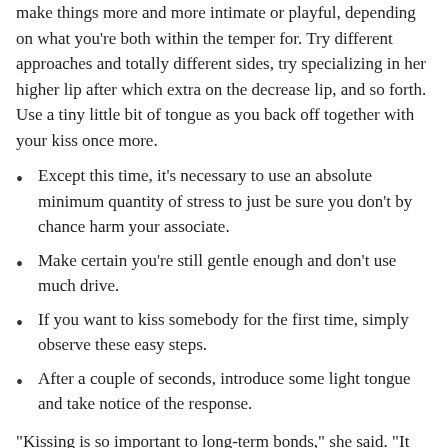make things more and more intimate or playful, depending on what you're both within the temper for. Try different approaches and totally different sides, try specializing in her higher lip after which extra on the decrease lip, and so forth. Use a tiny little bit of tongue as you back off together with your kiss once more.
Except this time, it's necessary to use an absolute minimum quantity of stress to just be sure you don't by chance harm your associate.
Make certain you're still gentle enough and don't use much drive.
If you want to kiss somebody for the first time, simply observe these easy steps.
After a couple of seconds, introduce some light tongue and take notice of the response.
“Kissing is so important to long-term bonds,” she said. “It helps to take care of a relationship.” So she suspects